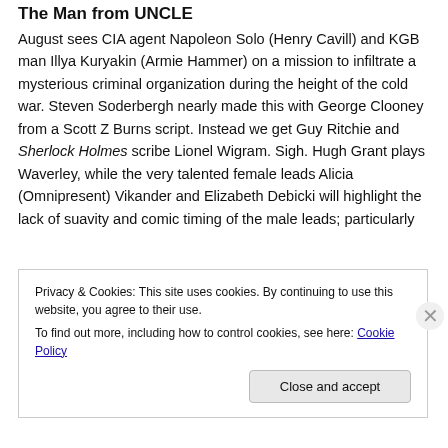The Man from UNCLE
August sees CIA agent Napoleon Solo (Henry Cavill) and KGB man Illya Kuryakin (Armie Hammer) on a mission to infiltrate a mysterious criminal organization during the height of the cold war. Steven Soderbergh nearly made this with George Clooney from a Scott Z Burns script. Instead we get Guy Ritchie and Sherlock Holmes scribe Lionel Wigram. Sigh. Hugh Grant plays Waverley, while the very talented female leads Alicia (Omnipresent) Vikander and Elizabeth Debicki will highlight the lack of suavity and comic timing of the male leads; particularly
Privacy & Cookies: This site uses cookies. By continuing to use this website, you agree to their use.
To find out more, including how to control cookies, see here: Cookie Policy